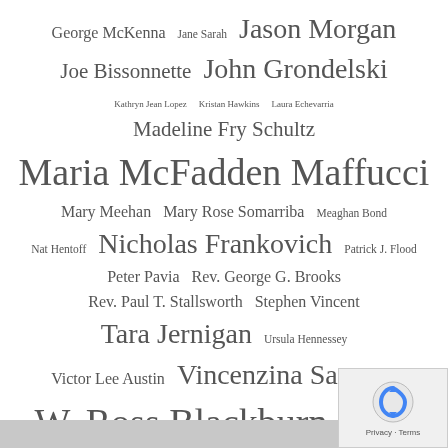George McKenna  Jane Sarah  Jason Morgan
Joe Bissonnette  John Grondelski
Kathryn Jean Lopez  Kristan Hawkins  Laura Echevarria
Madeline Fry Schultz
Maria McFadden Maffucci
Mary Meehan  Mary Rose Somarriba  Meaghan Bond
Nat Hentoff  Nicholas Frankovich  Patrick J. Flood
Peter Pavia  Rev. George G. Brooks
Rev. Paul T. Stallsworth  Stephen Vincent
Tara Jernigan  Ursula Hennessey
Victor Lee Austin  Vincenzina Santoro
W. Ross Blackburn  Wesley J. Smith
William Doino Jr.  William Murchison